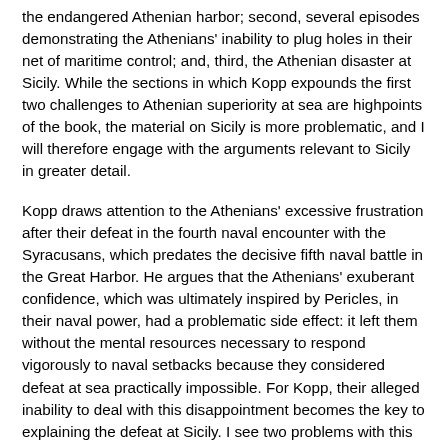the endangered Athenian harbor; second, several episodes demonstrating the Athenians' inability to plug holes in their net of maritime control; and, third, the Athenian disaster at Sicily. While the sections in which Kopp expounds the first two challenges to Athenian superiority at sea are highpoints of the book, the material on Sicily is more problematic, and I will therefore engage with the arguments relevant to Sicily in greater detail.
Kopp draws attention to the Athenians' excessive frustration after their defeat in the fourth naval encounter with the Syracusans, which predates the decisive fifth naval battle in the Great Harbor. He argues that the Athenians' exuberant confidence, which was ultimately inspired by Pericles, in their naval power, had a problematic side effect: it left them without the mental resources necessary to respond vigorously to naval setbacks because they considered defeat at sea practically impossible. For Kopp, their alleged inability to deal with this disappointment becomes the key to explaining the defeat at Sicily. I see two problems with this interpretation. The first is that it does not pay sufficient attention to other factors that are at least as important for